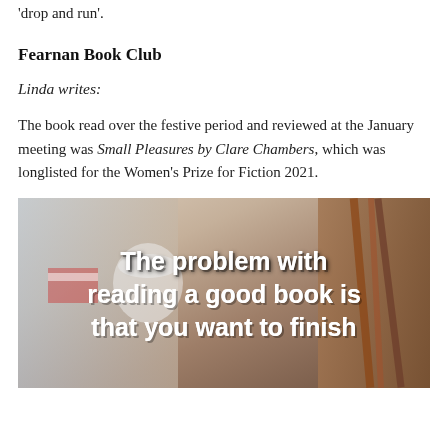'drop and run'.
Fearnan Book Club
Linda writes:
The book read over the festive period and reviewed at the January meeting was Small Pleasures by Clare Chambers, which was longlisted for the Women's Prize for Fiction 2021.
[Figure (photo): Photo of illustrated book/notebook with text overlay reading 'The problem with reading a good book is that you want to finish']